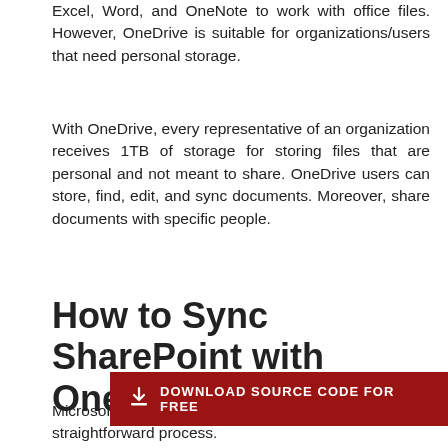Excel, Word, and OneNote to work with office files. However, OneDrive is suitable for organizations/users that need personal storage.
With OneDrive, every representative of an organization receives 1TB of storage for storing files that are personal and not meant to share. OneDrive users can store, find, edit, and sync documents. Moreover, share documents with specific people.
How to Sync SharePoint with OneDrive
[Figure (other): Red download banner button with download icon and text: DOWNLOAD SOURCE CODE FOR FREE]
Microsoft SharePoint and OneDrive integration is a straightforward process.